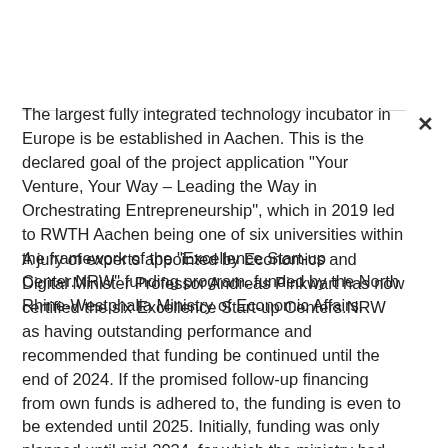The largest fully integrated technology incubator in Europe is be established in Aachen. This is the declared goal of the project application "Your Venture, Your Way – Leading the Way in Orchestrating Entrepreneurship", which in 2019 led to RWTH Aachen being one of six universities within the framework of the "Excellence Start-up Center.NRW" funding program. funded by the North Rhine-Westphalia Ministry of Economic Affairs.
A jury of experts appointed by Economics and Digital Minister Professor Andreas Pinkwart has now certified the six Excellence Start-up Centers.NRW as having outstanding performance and recommended that funding be continued until the end of 2024. If the promised follow-up financing from own funds is adhered to, the funding is even to be extended until 2025. Initially, funding was only planned until mid-2024, for which the ministry had made a total of 150 million euros available.